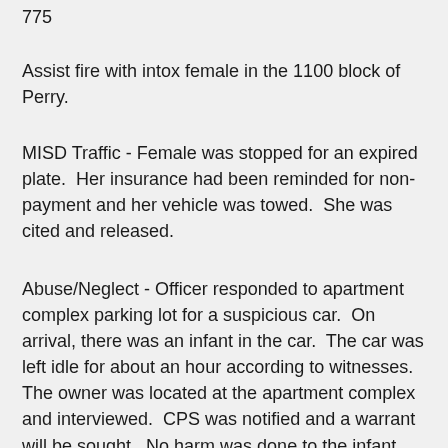775
Assist fire with intox female in the 1100 block of Perry.
MISD Traffic - Female was stopped for an expired plate.  Her insurance had been reminded for non-payment and her vehicle was towed.  She was cited and released.
Abuse/Neglect - Officer responded to apartment complex parking lot for a suspicious car.  On arrival, there was an infant in the car.  The car was left idle for about an hour according to witnesses.  The owner was located at the apartment complex and interviewed.  CPS was notified and a warrant will be sought.  No harm was done to the infant.